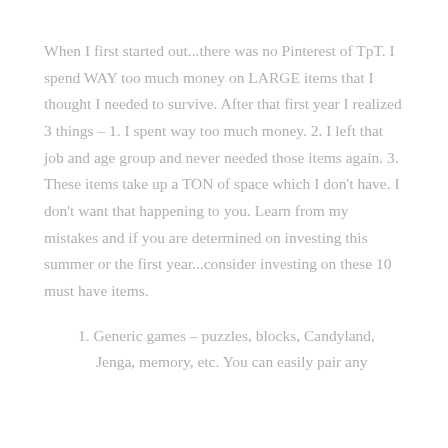When I first started out...there was no Pinterest of TpT.  I spend WAY too much money on LARGE items that I thought I needed to survive.  After that first year I realized 3 things – 1.  I spent way too much money.  2. I left that job and age group and never needed those items again. 3. These items take up a TON of space which I don't have.  I don't want that happening to you.  Learn from my mistakes and if you are determined on investing this summer or the first year...consider investing on these 10 must have items.
1. Generic games – puzzles, blocks, Candyland, Jenga, memory, etc.  You can easily pair any